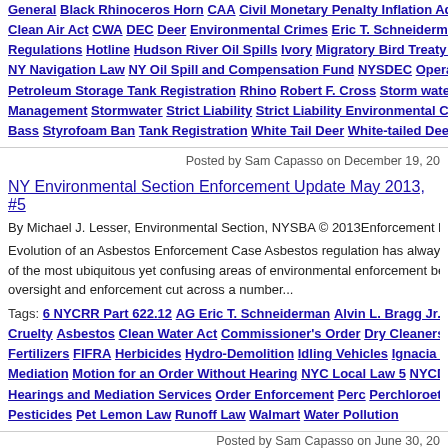Tags: General Black Rhinoceros Horn CAA Civil Monetary Penalty Inflation Adjustment Clean Air Act CWA DEC Deer Environmental Crimes Eric T. Schneiderman General Regulations Hotline Hudson River Oil Spills Ivory Migratory Bird Treaty Act Navigation Law NY Navigation Law NY Oil Spill and Compensation Fund NYSDEC Operation Petroleum Storage Tank Registration Rhino Robert F. Cross Storm water Storm Management Stormwater Strict Liability Strict Liability Environmental Crimes Bass Styrofoam Ban Tank Registration White Tail Deer White-tailed Deer Win
Posted by Sam Capasso on December 19, 20
NY Environmental Section Enforcement Update May 2013, #5
By Michael J. Lesser, Environmental Section, NYSBA © 2013Enforcement New Evolution of an Asbestos Enforcement Case Asbestos regulation has always be of the most ubiquitous yet confusing areas of environmental enforcement beca oversight and enforcement cut across a number...
Tags: 6 NYCRR Part 622.12 AG Eric T. Schneiderman Alvin L. Bragg Jr. Animal Cruelty Asbestos Clean Water Act Commissioner's Order Dry Cleaners Disclosure Fertilizers FIFRA Herbicides Hydro-Demolition Idling Vehicles Ignacia S. Moreno Mediation Motion for an Order Without Hearing NYC Local Law 5 NYCDEP Orders Hearings and Mediation Services Order Enforcement Perc Perchloroethylene Pesticides Pet Lemon Law Runoff Law Walmart Water Pollution
Posted by Sam Capasso on June 30, 20